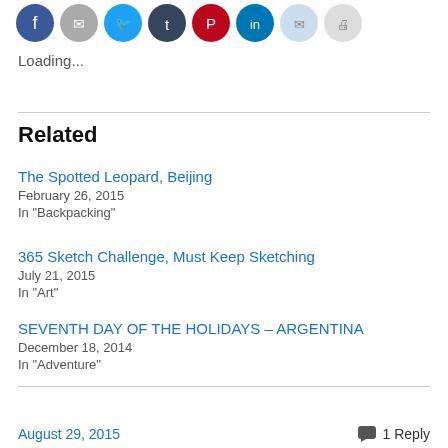[Figure (other): Row of social media sharing icon buttons (Facebook, email, Twitter, Tumblr, Pinterest, LinkedIn, and two more circular icon buttons)]
Loading...
Related
The Spotted Leopard, Beijing
February 26, 2015
In "Backpacking"
365 Sketch Challenge, Must Keep Sketching
July 21, 2015
In "Art"
SEVENTH DAY OF THE HOLIDAYS – ARGENTINA
December 18, 2014
In "Adventure"
August 29, 2015
1 Reply